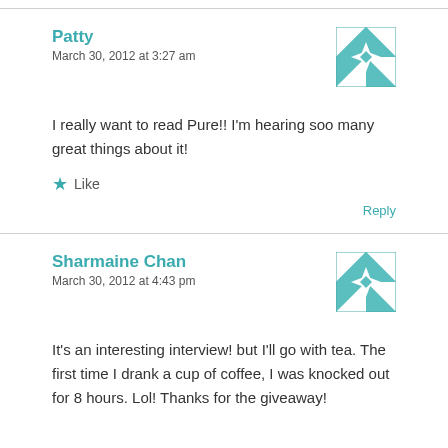Patty
March 30, 2012 at 3:27 am
I really want to read Pure!! I'm hearing soo many great things about it!
★ Like
Reply
Sharmaine Chan
March 30, 2012 at 4:43 pm
It's an interesting interview! but I'll go with tea. The first time I drank a cup of coffee, I was knocked out for 8 hours. Lol! Thanks for the giveaway!